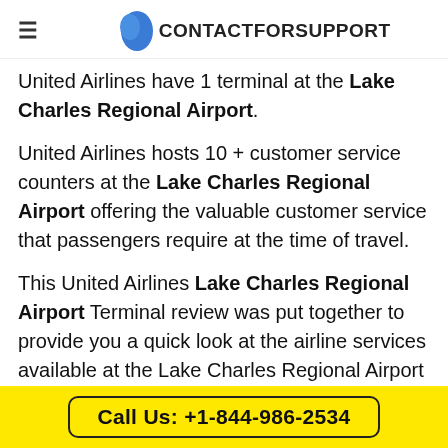CONTACTFORSUPPORT
United Airlines have 1 terminal at the Lake Charles Regional Airport.
United Airlines hosts 10 + customer service counters at the Lake Charles Regional Airport offering the valuable customer service that passengers require at the time of travel.
This United Airlines Lake Charles Regional Airport Terminal review was put together to provide you a quick look at the airline services available at the Lake Charles Regional Airport
Call Us: +1-844-986-2534